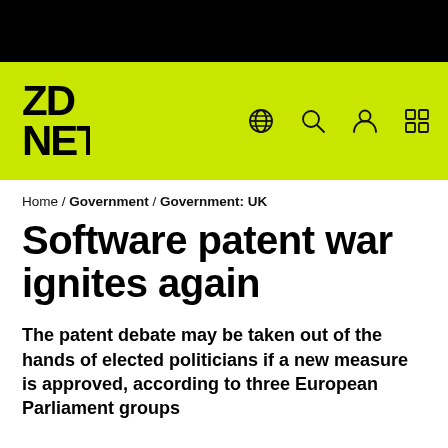[Figure (logo): ZDNET logo on lime green navigation bar with black top bar and icons for globe, search, user, and grid]
Home / Government / Government: UK
Software patent war ignites again
The patent debate may be taken out of the hands of elected politicians if a new measure is approved, according to three European Parliament groups